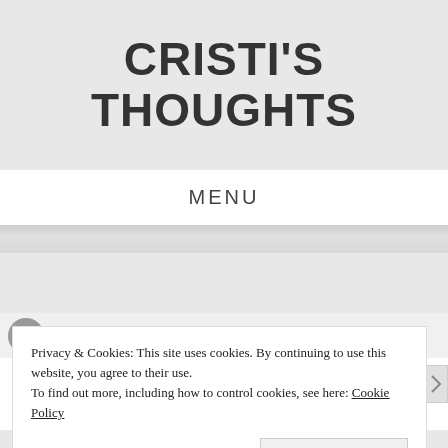CRISTI'S THOUGHTS
MENU
POSTED BY   POSTED ON   POSTED
Privacy & Cookies: This site uses cookies. By continuing to use this website, you agree to their use.
To find out more, including how to control cookies, see here: Cookie Policy
Close and accept